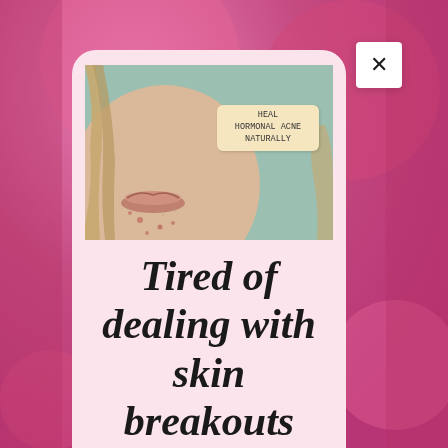[Figure (photo): Pink blurred background with balloons/abstract shapes, with a centered modal card showing a photo of a woman's chin/jaw area with acne and a tan sticky note label reading 'HEAL HORMONAL ACNE NATURALLY', plus italic bold serif text below reading 'Tired of dealing with skin breakouts', and a white close (X) button in the top right corner of the card]
Tired of dealing with skin breakouts